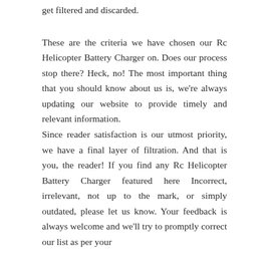get filtered and discarded.
These are the criteria we have chosen our Rc Helicopter Battery Charger on. Does our process stop there? Heck, no! The most important thing that you should know about us is, we're always updating our website to provide timely and relevant information.
Since reader satisfaction is our utmost priority, we have a final layer of filtration. And that is you, the reader! If you find any Rc Helicopter Battery Charger featured here Incorrect, irrelevant, not up to the mark, or simply outdated, please let us know. Your feedback is always welcome and we'll try to promptly correct our list as per your